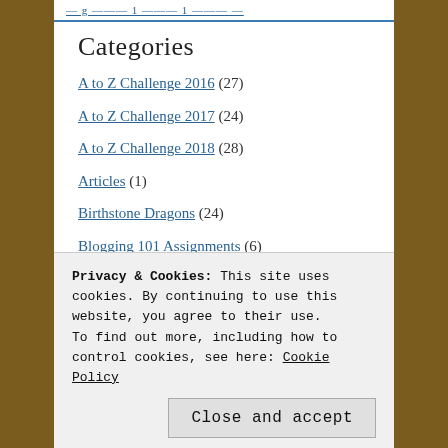— g — 1 — 1 — (decorative header link)
Categories
A to Z Challenge 2016 (27)
A to Z Challenge 2017 (24)
A to Z Challenge 2018 (28)
Articles (1)
Birthstone Dragons (24)
Blogging 101 Assignments (6)
Bright Ideas (12)
Dragons (287)
Finding Dragons (partially visible)
Privacy & Cookies: This site uses cookies. By continuing to use this website, you agree to their use. To find out more, including how to control cookies, see here: Cookie Policy
Close and accept